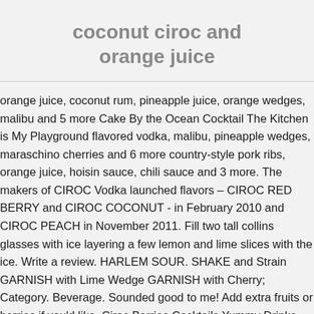coconut ciroc and orange juice
orange juice, coconut rum, pineapple juice, orange wedges, malibu and 5 more Cake By the Ocean Cocktail The Kitchen is My Playground flavored vodka, malibu, pineapple wedges, maraschino cherries and 6 more country-style pork ribs, orange juice, hoisin sauce, chili sauce and 3 more. The makers of CIROC Vodka launched flavors – CIROC RED BERRY and CIROC COCONUT - in February 2010 and CIROC PEACH in November 2011. Fill two tall collins glasses with ice layering a few lemon and lime slices with the ice. Write a review. HARLEM SOUR. SHAKE and Strain GARNISH with Lime Wedge GARNISH with Cherry; Category. Beverage. Sounded good to me! Add extra fruits or berries if you'd like. Ciroc Berries Cocktails Yummy Drinks Booze Alcohol Mixed Drinks Party Drinks Drinks Fresh juices are going to make a superior martini and match the quality of